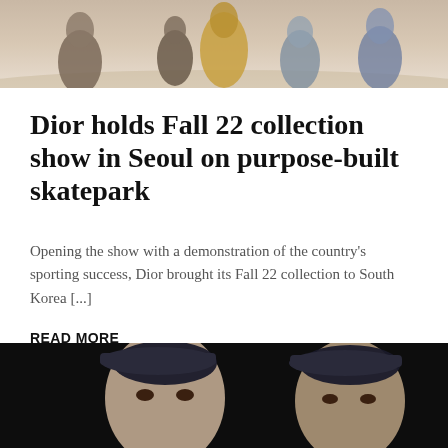[Figure (photo): Top portion of a fashion show photo showing models on a runway, cropped at top of page]
Dior holds Fall 22 collection show in Seoul on purpose-built skatepark
Opening the show with a demonstration of the country's sporting success, Dior brought its Fall 22 collection to South Korea [...]
READ MORE
[Figure (photo): Bottom portion of a fashion show photo showing two male models wearing dark berets against a black background]